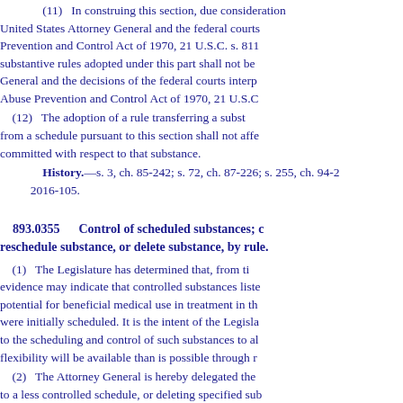(11) In construing this section, due consideration shall be given to the interpretations of the United States Attorney General and the federal courts of the Comprehensive Drug Abuse Prevention and Control Act of 1970, 21 U.S.C. s. 811. The department's findings of fact and substantive rules adopted under this part shall not be inconsistent with the interpretations of the Attorney General and the decisions of the federal courts interpreting the Comprehensive Drug Abuse Prevention and Control Act of 1970, 21 U.S.C. s. 811.
(12) The adoption of a rule transferring a substance to a more controlled schedule, removing it from a schedule pursuant to this section shall not affect prosecutions for acts previously committed with respect to that substance.
History.—s. 3, ch. 85-242; s. 72, ch. 87-226; s. 255, ch. 94-2; s. 1, ch. 2016-105.
893.0355 Control of scheduled substances; authority to reschedule substance, or delete substance, by rule.
(1) The Legislature has determined that, from time to time, scientific evidence may indicate that controlled substances listed in this chapter may have a potential for beneficial medical use in treatment in the United States different from when they were initially scheduled. It is the intent of the Legislature to provide a mechanism related to the scheduling and control of such substances to allow for updating so that more administrative flexibility will be available than is possible through rescheduling by statute.
(2) The Attorney General is hereby delegated the authority for rescheduling a substance to a less controlled schedule, or deleting specified substances from any schedule, when the continued control of such substances is in the public interest. In